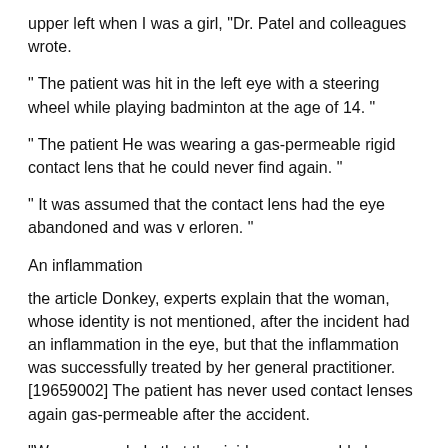upper left when I was a girl, "Dr. Patel and colleagues wrote.
" The patient was hit in the left eye with a steering wheel while playing badminton at the age of 14. "
" The patient He was wearing a gas-permeable rigid contact lens that he could never find again. "
" It was assumed that the contact lens had the eye abandoned and was v erloren. "
An inflammation
the article Donkey, experts explain that the woman, whose identity is not mentioned, after the incident had an inflammation in the eye, but that the inflammation was successfully treated by her general practitioner. [19659002] The patient has never used contact lenses again gas-permeable after the accident.
"We can conclude that the rigid gas-permeable lens migrated to the left upper eyelid of the patient at the time of the trauma and